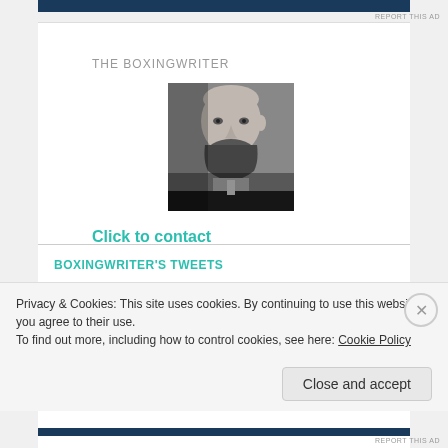REPORT THIS AD
THE BOXINGWRITER
[Figure (photo): Black and white close-up portrait photo of a bald man with a beard, wearing a dark suit with white shirt, looking seriously at the camera]
Click to contact
BOXINGWRITER'S TWEETS
Privacy & Cookies: This site uses cookies. By continuing to use this website, you agree to their use.
To find out more, including how to control cookies, see here: Cookie Policy
Close and accept
REPORT THIS AD